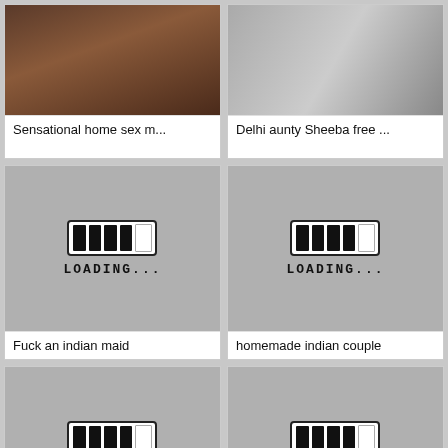[Figure (photo): Thumbnail photo top left - hands]
Sensational home sex m...
[Figure (photo): Thumbnail photo top right - blurry object]
Delhi aunty Sheeba free ...
[Figure (other): Loading placeholder image with loading bar and text LOADING...]
Fuck an indian maid
[Figure (other): Loading placeholder image with loading bar and text LOADING...]
homemade indian couple
[Figure (other): Loading placeholder image with loading bar and text LOADING...]
Langoor ke muh me angoor
[Figure (other): Loading placeholder image with loading bar and text LOADING...]
Horny teen cheating on h...
[Figure (photo): Partial thumbnail bottom left]
[Figure (photo): Partial thumbnail bottom right]